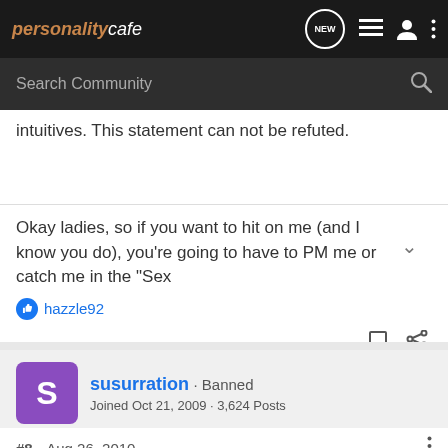personalitycafe
intuitives. This statement can not be refuted.
Okay ladies, so if you want to hit on me (and I know you do), you're going to have to PM me or catch me in the "Sex
hazzle92
susurration · Banned
Joined Oct 21, 2009 · 3,624 Posts
#8 · Aug 26, 2010